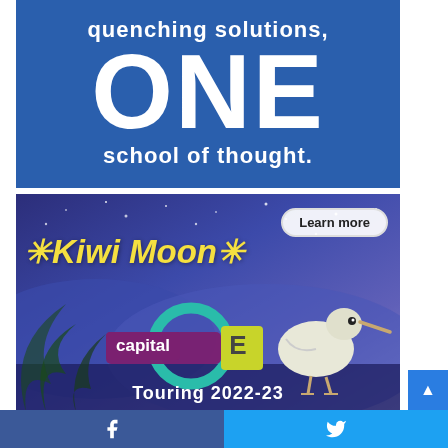[Figure (illustration): Blue banner advertisement with large white text reading 'quenching solutions,' on top, then large 'ONE' and 'school of thought.' below]
[Figure (illustration): Kiwi Moon Capital E advertisement banner. Purple/blue night sky background with stars. Yellow italic text 'Kiwi Moon' with decorative asterisks. 'Learn more' button in top right. Capital E logo. Illustrated kiwi bird. Fern foliage. Text at bottom 'Touring 2022-23']
[Figure (illustration): Social media share bar at bottom: Facebook (blue) on left with Facebook icon, Twitter (light blue) on right with Twitter bird icon. Scroll-to-top blue button on far right.]